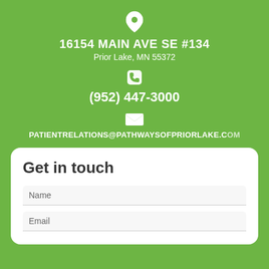16154 MAIN AVE SE #134
Prior Lake, MN 55372
(952) 447-3000
PATIENTRELATIONS@PATHWAYSOFPRIORLAKE.COM
Get in touch
Name
Email